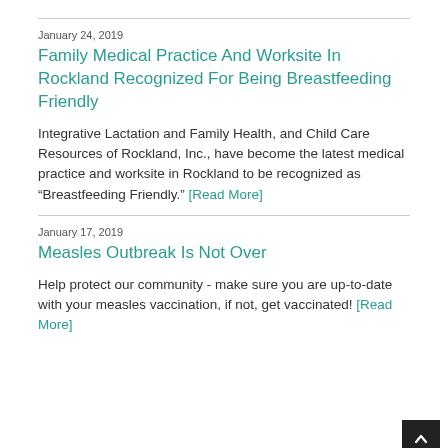January 24, 2019
Family Medical Practice And Worksite In Rockland Recognized For Being Breastfeeding Friendly
Integrative Lactation and Family Health, and Child Care Resources of Rockland, Inc., have become the latest medical practice and worksite in Rockland to be recognized as “Breastfeeding Friendly.” [Read More]
January 17, 2019
Measles Outbreak Is Not Over
Help protect our community - make sure you are up-to-date with your measles vaccination, if not, get vaccinated! [Read More]